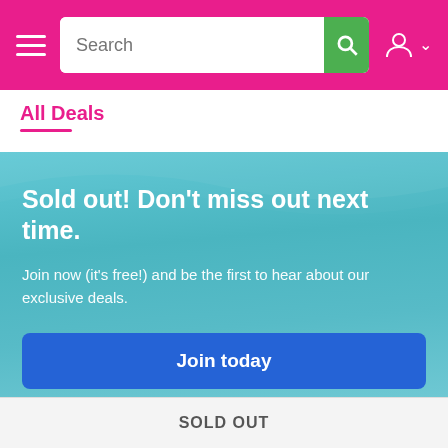Search
All Deals
Sold out! Don't miss out next time.
Join now (it's free!) and be the first to hear about our exclusive deals.
Join today
+ View more deals
SOLD OUT